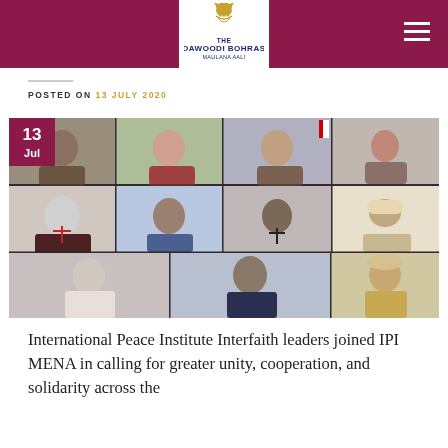The Dawoodi Bohras - Maulana Aali
POSTED ON 13 JULY 2020
[Figure (photo): Virtual video conference grid showing multiple interfaith leaders including religious figures from various faiths, with a Bahrain flag visible in one panel. Date badge shows 13 Jul in top left corner.]
International Peace Institute Interfaith leaders joined IPI MENA in calling for greater unity, cooperation, and solidarity across the